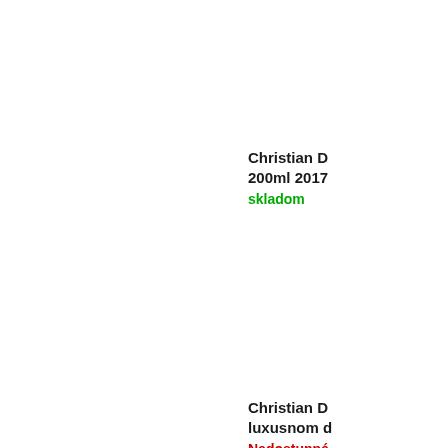Christian D 200ml 2017
skladom
Christian D luxusnom d
Nedostupné
Christian D 200ml
Nedostupné
Christian D 50ml
Nedostupné